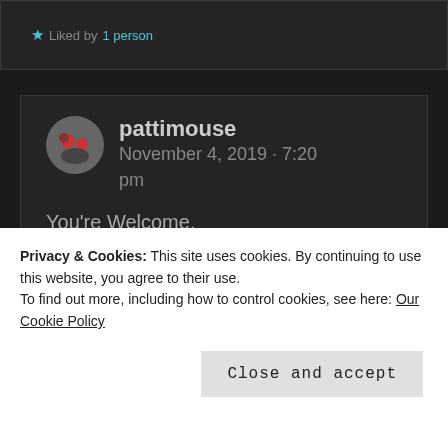★ Liked by 1 person
pattimouse
November 4, 2019 · 7:20 pm
You're Welcome.
★ Like
November 11, 2019 · 8:25 pm
Privacy & Cookies: This site uses cookies. By continuing to use this website, you agree to their use.
To find out more, including how to control cookies, see here: Our Cookie Policy
Close and accept